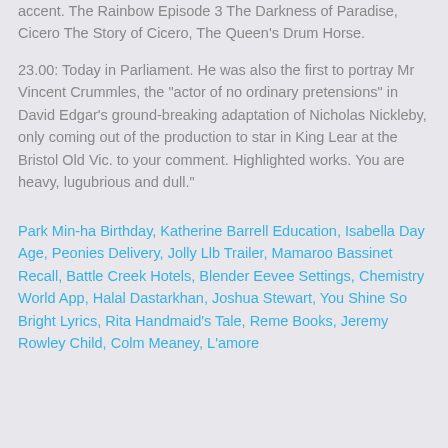accent. The Rainbow Episode 3 The Darkness of Paradise, Cicero The Story of Cicero, The Queen's Drum Horse.
23.00: Today in Parliament. He was also the first to portray Mr Vincent Crummles, the "actor of no ordinary pretensions" in David Edgar's ground-breaking adaptation of Nicholas Nickleby, only coming out of the production to star in King Lear at the Bristol Old Vic. to your comment. Highlighted works. You are heavy, lugubrious and dull."
Park Min-ha Birthday, Katherine Barrell Education, Isabella Day Age, Peonies Delivery, Jolly Llb Trailer, Mamaroo Bassinet Recall, Battle Creek Hotels, Blender Eevee Settings, Chemistry World App, Halal Dastarkhan, Joshua Stewart, You Shine So Bright Lyrics, Rita Handmaid's Tale, Reme Books, Jeremy Rowley Child, Colm Meaney, L'amore